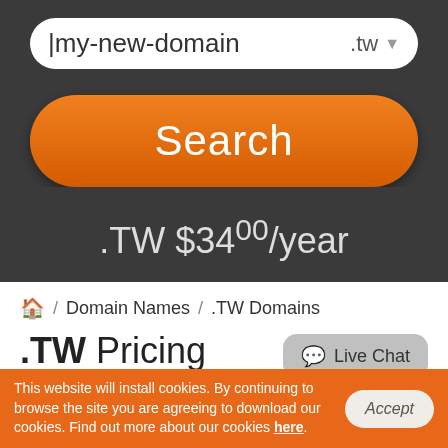[Figure (screenshot): Domain search input field showing 'my-new-domain' with '.tw' TLD selector dropdown]
[Figure (screenshot): Orange rounded Search button]
.TW $34.00/year
🏠 / Domain Names / .TW Domains
.TW Pricing
[Figure (screenshot): Live Chat speech bubble button]
This website will install cookies. By continuing to browse the site you are agreeing to download our cookies. Find out more about our cookies here.